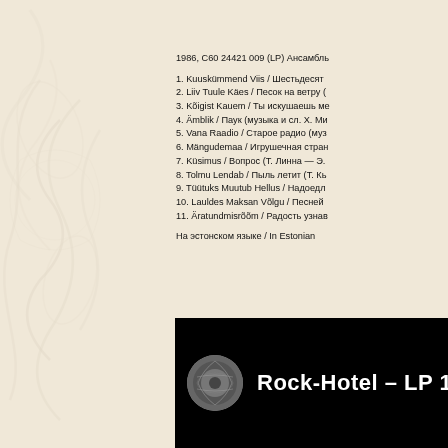1986, С60 24421 009 (LP) Ансамбль
1. Kuuskümmend Viis / Шестьдесят
2. Liiv Tuule Käes / Песок на ветру (
3. Kõigist Kauem / Ты искушаешь ме
4. Ämblik / Паук (музыка и сл. Х. Ми
5. Vana Raadio / Старое радио (муз
6. Mängudemaa / Игрушечная стран
7. Küsimus / Вопрос (Т. Линна — Э.
8. Tolmu Lendab / Пыль летит (Т. Кь
9. Tüütuks Muutub Hellus / Надоедл
10. Lauldes Maksan Võlgu / Песней
11. Äratundmisrõõm / Радость узнав
На эстонском языке / In Estonian
[Figure (logo): Rock-Hotel LP 19 logo with circular emblem on black background]